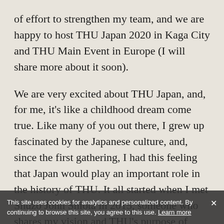of effort to strengthen my team, and we are happy to host THU Japan 2020 in Kaga City and THU Main Event in Europe (I will share more about it soon).
We are very excited about THU Japan, and, for me, it's like a childhood dream come true. Like many of you out there, I grew up fascinated by the Japanese culture, and, since the first gathering, I had this feeling that Japan would play an important role in the history of THU. It all started when I met Shuzo John Shiota in 2015, someone who shares my vision and THU's purpose of helping creators. In 2017, we started discussing the possibility of bringing THU to Japan. We decided to do it step by step: first, the gatherings (2018 and 2019), where we tested and tried a different model - a hybrid between THU's traditional format and the Japanese culture - it's time for the next step: a three-day event about
This site uses cookies for analytics and personalized content. By continuing to browse this site, you agree to this use. Learn more